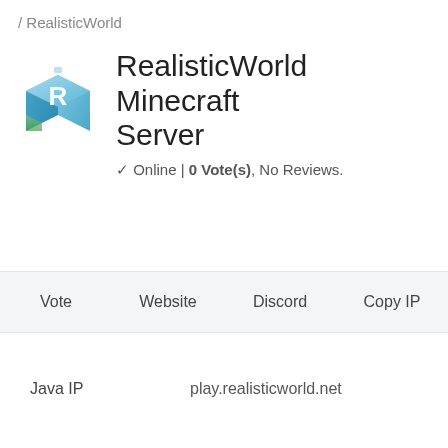/ RealisticWorld
RealisticWorld Minecraft Server
✓ Online | 0 Vote(s), No Reviews.
| Vote | Website | Discord | Copy IP |
| --- | --- | --- | --- |
| Java IP | play.realisticworld.net |  |  |